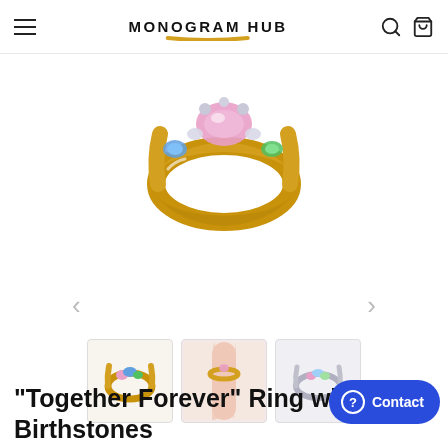MONOGRAM HUB
[Figure (photo): Close-up of a gold 'Together Forever' ring with colorful birthstones including pink, blue, and green gemstones on a white background]
[Figure (photo): Thumbnail: Gold birthstone ring with colorful gems]
[Figure (photo): Thumbnail: Ring shown on a hand/finger, pale pink background]
[Figure (photo): Thumbnail: Silver version of the birthstone ring on white background]
"Together Forever" Ring with Birthstones